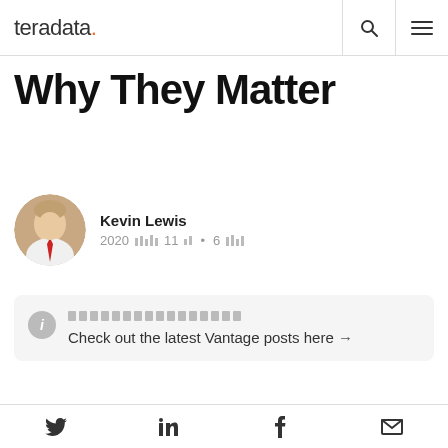teradata. [search icon] [menu icon]
Why They Matter
Kevin Lewis
2020年6月11日 • 6分钟阅读
[redacted text]
Check out the latest Vantage posts here →
When analyzing the data and analytics
[Twitter] [LinkedIn] [Facebook] [Email]